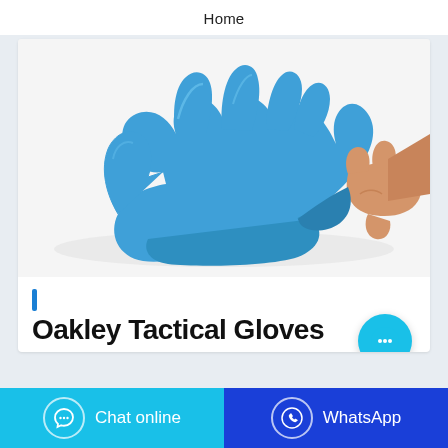Home
[Figure (photo): A blue nitrile disposable glove being stretched by a hand on a white background — one hand wears the blue glove spread open with fingers extended, and another hand pinches and pulls the cuff of the glove demonstrating its stretchability.]
Oakley Tactical Gloves
Chat online
WhatsApp